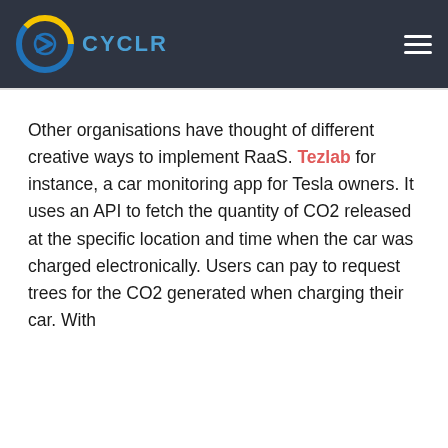CYCLR
Other organisations have thought of different creative ways to implement RaaS. Tezlab for instance, a car monitoring app for Tesla owners. It uses an API to fetch the quantity of CO2 released at the specific location and time when the car was charged electronically. Users can pay to request trees for the CO2 generated when charging their car. With